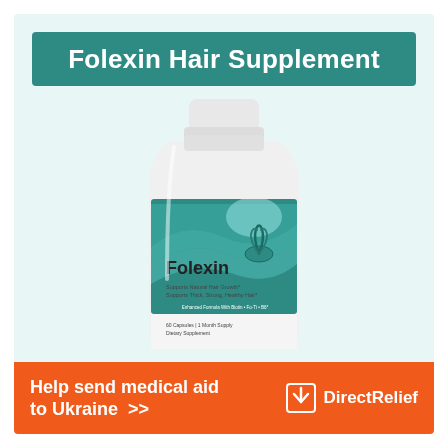Folexin Hair Supplement
[Figure (photo): White plastic supplement bottle with teal/green label reading 'Folexin', with hair growth imagery on label, on light teal background]
Help send medical aid to Ukraine >>
[Figure (logo): Direct Relief logo - white box icon with white text 'Direct Relief' on orange background]